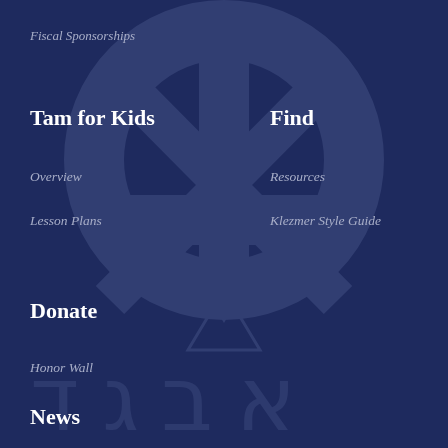Fiscal Sponsorships
Tam for Kids
Find
Overview
Resources
Lesson Plans
Klezmer Style Guide
Donate
Honor Wall
News